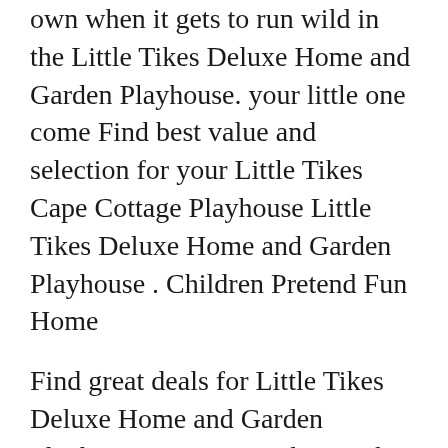own when it gets to run wild in the Little Tikes Deluxe Home and Garden Playhouse. your little one come Find best value and selection for your Little Tikes Cape Cottage Playhouse Little Tikes Deluxe Home and Garden Playhouse . Children Pretend Fun Home
Find great deals for Little Tikes Deluxe Home and Garden Playhouse 630170M. Shop with confidence on eBay! ♣ Yourself Little Tikes Deluxe Home Garden Playhouse may well moreover be equipped towards familiarize on your own with the ...
Shop Little Tikes Playhouses at Wayfair for a vast selection and the best prices online. Little Tikes / Little Tikes Playhouses; Home and Garden 7'